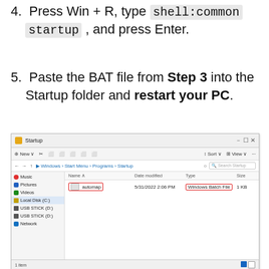4. Press Win + R, type shell:common startup , and press Enter.
5. Paste the BAT file from Step 3 into the Startup folder and restart your PC.
[Figure (screenshot): Windows File Explorer screenshot showing the Startup folder (Windows > Start Menu > Programs > Startup) with one file named 'automap' of type 'Windows Batch File', dated 5/31/2022 2:06 PM, size 1 KB. The filename and file type are each highlighted with a red rectangle outline.]